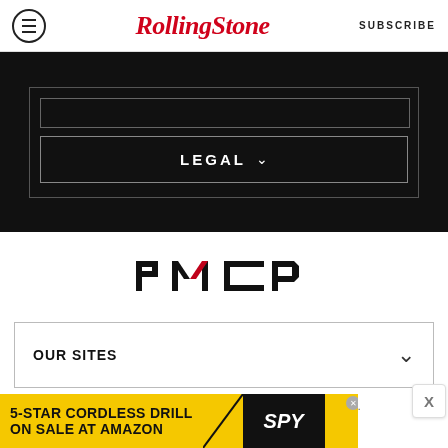Rolling Stone | SUBSCRIBE
[Figure (screenshot): Black navigation section with LEGAL dropdown button and white bordered frame]
[Figure (logo): PMC logo in black with red accent on the M letter]
OUR SITES
Copyright © 2022 Penske Business Media, LLC. All Rights Reserved.
Powered by WordPress.com VIP
[Figure (screenshot): Advertisement banner: 5-STAR CORDLESS DRILL ON SALE AT AMAZON with SPY logo]